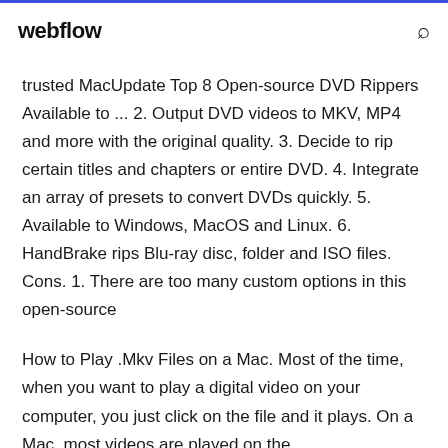webflow
trusted MacUpdate Top 8 Open-source DVD Rippers Available to ... 2. Output DVD videos to MKV, MP4 and more with the original quality. 3. Decide to rip certain titles and chapters or entire DVD. 4. Integrate an array of presets to convert DVDs quickly. 5. Available to Windows, MacOS and Linux. 6. HandBrake rips Blu-ray disc, folder and ISO files. Cons. 1. There are too many custom options in this open-source
How to Play .Mkv Files on a Mac. Most of the time, when you want to play a digital video on your computer, you just click on the file and it plays. On a Mac, most videos are played on the